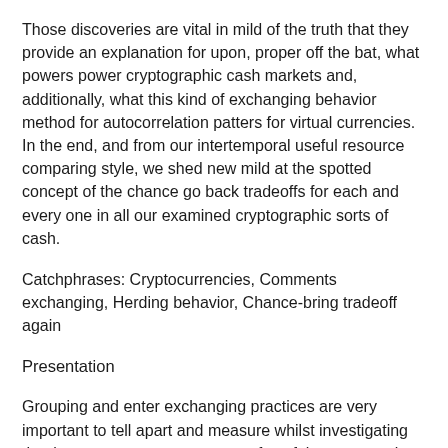Those discoveries are vital in mild of the truth that they provide an explanation for upon, proper off the bat, what powers power cryptographic cash markets and, additionally, what this kind of exchanging behavior method for autocorrelation patters for virtual currencies. In the end, and from our intertemporal useful resource comparing style, we shed new mild at the spotted concept of the chance go back tradeoffs for each and every one in all our examined cryptographic sorts of cash.
Catchphrases: Cryptocurrencies, Comments exchanging, Herding behavior, Chance-bring tradeoff again
Presentation
Grouping and enter exchanging practices are very important to tell apart and measure whilst investigating the time sequence components of useful resource prices since they may be able to in all probability actuate a a lot of marvels, like overabundance instability, power and inversions. Crowding